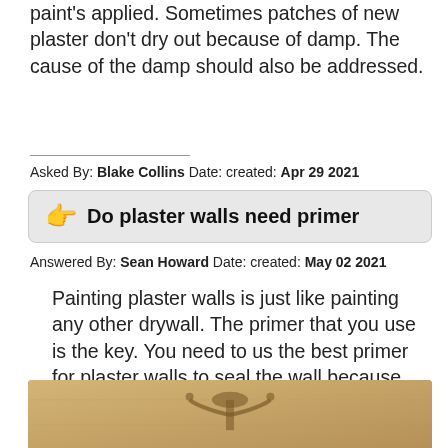paint's applied. Sometimes patches of new plaster don't dry out because of damp. The cause of the damp should also be addressed.
Asked By: Blake Collins Date: created: Apr 29 2021
Do plaster walls need primer
Answered By: Sean Howard Date: created: May 02 2021
Painting plaster walls is just like painting any other drywall. The primer that you use is the key. You need to us the best primer for plaster walls to seal the wall because paints won't take to it evenly without a good primer.
[Figure (photo): Bottom portion of an interior room photo showing a decorative wall sconce/candelabra fixture against a warm beige plaster wall.]